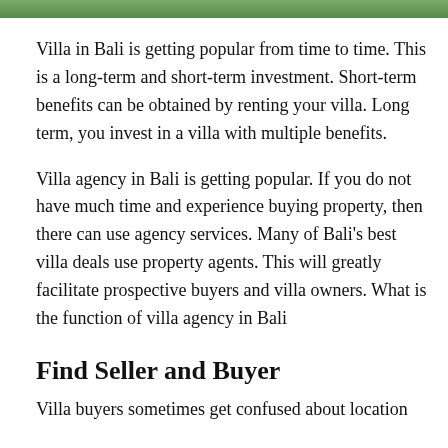[Figure (photo): A cropped image strip showing greenery/nature scene, likely a Bali villa garden]
Villa in Bali is getting popular from time to time. This is a long-term and short-term investment. Short-term benefits can be obtained by renting your villa. Long term, you invest in a villa with multiple benefits.
Villa agency in Bali is getting popular. If you do not have much time and experience buying property, then there can use agency services. Many of Bali’s best villa deals use property agents. This will greatly facilitate prospective buyers and villa owners. What is the function of villa agency in Bali
Find Seller and Buyer
Villa buyers sometimes get confused about location